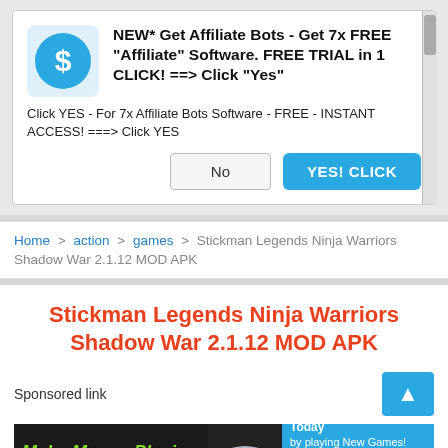[Figure (screenshot): Popup ad dialog with dollar sign icon, headline text, body text, No button, and YES! CLICK button]
Home > action > games > Stickman Legends Ninja Warriors Shadow War 2.1.12 MOD APK
Stickman Legends Ninja Warriors Shadow War 2.1.12 MOD APK
Sponsored link
[Figure (infographic): Make Money Playing Video Games ad banner with controller image and text about earning $500-$3,500++ per month]